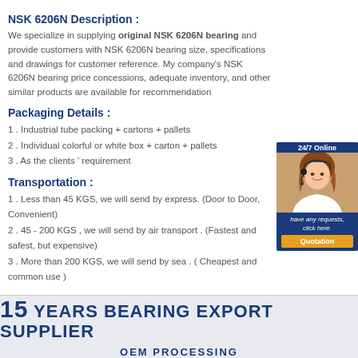NSK 6206N Description :
We specialize in supplying original NSK 6206N bearing and provide customers with NSK 6206N bearing size, specifications and drawings for customer reference. My company's NSK 6206N bearing price concessions, adequate inventory, and other similar products are available for recommendation
Packaging Details :
1 . Industrial tube packing + cartons + pallets
2 . Individual colorful or white box + carton + pallets
3 . As the clients ' requirement
[Figure (photo): Customer service representative with headset, 24/7 Online banner, with quotation button]
Transportation :
1 . Less than 45 KGS, we will send by express. (Door to Door, Convenient)
2 . 45 - 200 KGS , we will send by air transport . (Fastest and safest, but expensive)
3 . More than 200 KGS, we will send by sea . ( Cheapest and common use )
[Figure (infographic): 15 YEARS BEARING EXPORT SUPPLIER banner with OEM PROCESSING text below]